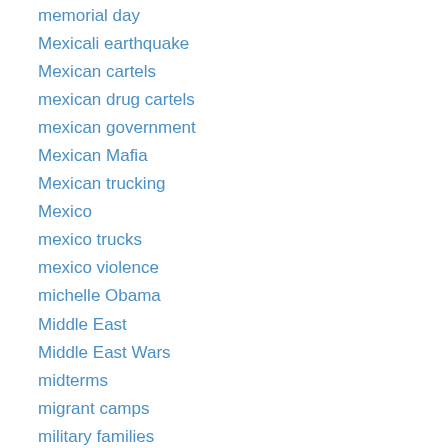memorial day
Mexicali earthquake
Mexican cartels
mexican drug cartels
mexican government
Mexican Mafia
Mexican trucking
Mexico
mexico trucks
mexico violence
michelle Obama
Middle East
Middle East Wars
midterms
migrant camps
military families
minutemen
missile defense
missile launch off California coast
missing teenager